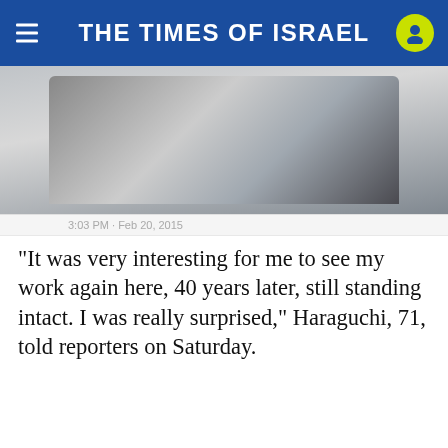THE TIMES OF ISRAEL
[Figure (photo): Photo of black book or notebook on grey surface, partially cropped]
3:03 PM · Feb 20, 2015
“It was very interesting for me to see my work again here, 40 years later, still standing intact. I was really surprised,” Haraguchi, 71, told reporters on Saturday.
ADVERTISEMENT
[Figure (other): Advertisement banner: JOIN OUR COMMUNITY | Support ToI and remove ads]
[Figure (other): Advertisement banner: Leesburg OPEN 10AM–7PM, 241 Fort Evans Rd NE, Leesburg]